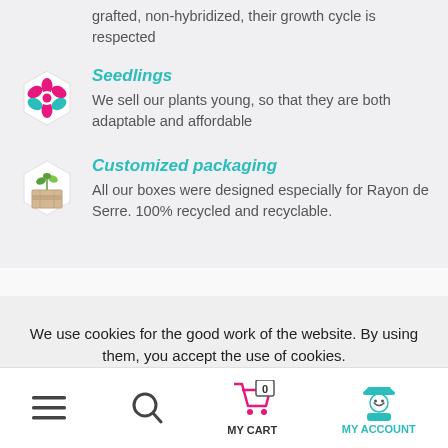grafted, non-hybridized, their growth cycle is respected
Seedlings
We sell our plants young, so that they are both adaptable and affordable
Customized packaging
All our boxes were designed especially for Rayon de Serre. 100% recycled and recyclable.
We use cookies for the good work of the website. By using them, you accept the use of cookies.
More information   I ACCEPT
MY CART   MY ACCOUNT